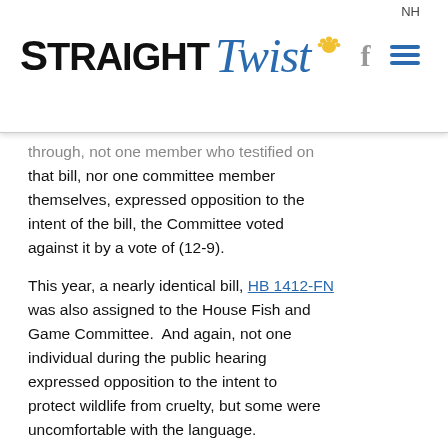Straight Twist — NH
through, not one member who testified on that bill, nor one committee member themselves, expressed opposition to the intent of the bill, the Committee voted against it by a vote of (12-9).
This year, a nearly identical bill, HB 1412-FN was also assigned to the House Fish and Game Committee.  And again, not one individual during the public hearing expressed opposition to the intent to protect wildlife from cruelty, but some were uncomfortable with the language.
HB 1412-FN does not impact the right of residents to protect their safety or crops from wild animals, nor the rights of residents to remove nuisance animals from their homes.